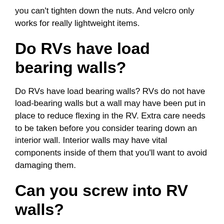you can't tighten down the nuts. And velcro only works for really lightweight items.
Do RVs have load bearing walls?
Do RVs have load bearing walls? RVs do not have load-bearing walls but a wall may have been put in place to reduce flexing in the RV. Extra care needs to be taken before you consider tearing down an interior wall. Interior walls may have vital components inside of them that you'll want to avoid damaging them.
Can you screw into RV walls?